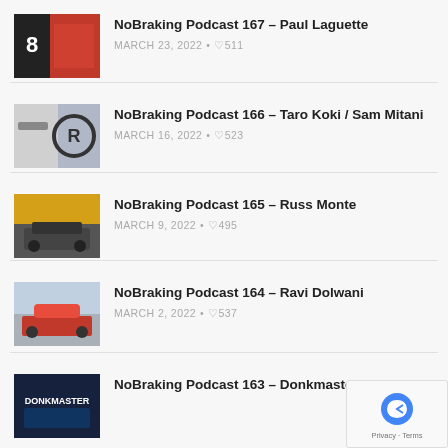NoBraking Podcast 167 – Paul Laguette
MARCH 23, 2022 • ♡511
NoBraking Podcast 166 – Taro Koki / Sam Mitani
MARCH 16, 2022 • ♡523
NoBraking Podcast 165 – Russ Monte
MARCH 9, 2022 • ♡495
NoBraking Podcast 164 – Ravi Dolwani
MARCH 2, 2022 • ♡537
NoBraking Podcast 163 – Donkmaster Sage Thomas